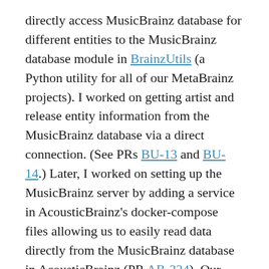directly access MusicBrainz database for different entities to the MusicBrainz database module in BrainzUtils (a Python utility for all of our MetaBrainz projects). I worked on getting artist and release entity information from the MusicBrainz database via a direct connection. (See PRs BU-13 and BU-14.) Later, I worked on setting up the MusicBrainz server by adding a service in AcousticBrainz's docker-compose files allowing us to easily read data directly from the MusicBrainz database in AcousticBrainz (PR AB-334). Our major aim of the project was to implement both the methods of MusicBrainz database access in AcousticBrainz especially importing the MusicBrainz database in AcousticBrainz from